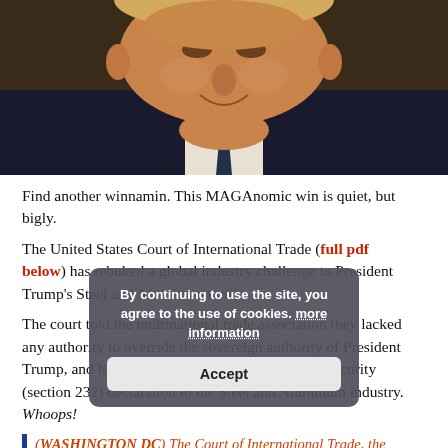[Figure (photo): Close-up photograph of a smiling older man in a dark suit and tie, cropped from chin to top of head area, dark background.]
Find another winnamin. This MAGAnomic win is quiet, but bigly.
The United States Court of International Trade (full pdf below) has rebuked a global industry challenge to President Trump’s Steel and Aluminum tariffs.
The court told the multinational trade association they lacked any authority to override the sovereign authority of President Trump, and his absolute right to apply a national security (section 232) declaration to the Steel and Aluminum industry. Whoops!
(WASHINGTON DC) The Court of International Trade, the